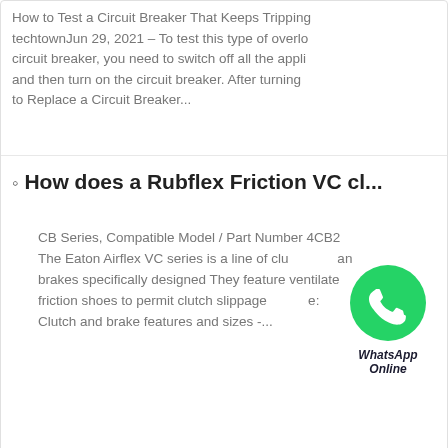How to Test a Circuit Breaker That Keeps Tripping techtownJun 29, 2021 – To test this type of overload circuit breaker, you need to switch off all the applications and then turn on the circuit breaker. After turning to Replace a Circuit Breaker...
How does a Rubflex Friction VC cl...
CB Series, Compatible Model / Part Number 4CB2 The Eaton Airflex VC series is a line of clutches and brakes specifically designed They feature ventilated friction shoes to permit clutch slippage at moderate Clutch and brake features and sizes -...
[Figure (logo): WhatsApp Online floating button with green phone icon and WhatsApp Online italic label]
×
Hello, how may I help you?
BRAKES CATEGORIES
Chat now
rakes